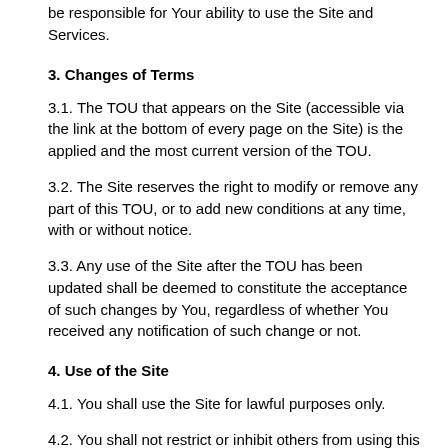be responsible for Your ability to use the Site and Services.
3. Changes of Terms
3.1. The TOU that appears on the Site (accessible via the link at the bottom of every page on the Site) is the applied and the most current version of the TOU.
3.2. The Site reserves the right to modify or remove any part of this TOU, or to add new conditions at any time, with or without notice.
3.3. Any use of the Site after the TOU has been updated shall be deemed to constitute the acceptance of such changes by You, regardless of whether You received any notification of such change or not.
4. Use of the Site
4.1. You shall use the Site for lawful purposes only.
4.2. You shall not restrict or inhibit others from using this Site by any means, including, but not limited to, a